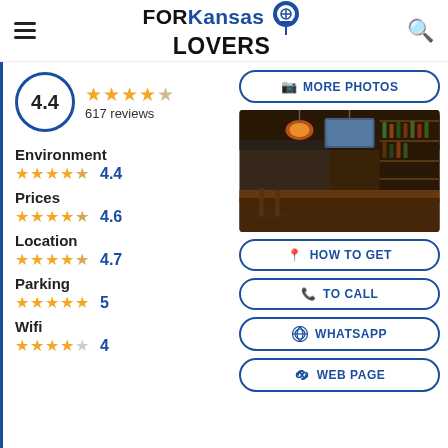FOR Kansas LOVERS
4.4 — 617 reviews
Environment 4.4
Prices 4.6
Location 4.7
Parking 5
Wifi 4
[Figure (photo): Interior of a bar/pub with warm pendant lights, wooden bar counter, and shelves of bottles]
MORE PHOTOS
HOW TO GET
TO CALL
WHATSAPP
WEB PAGE